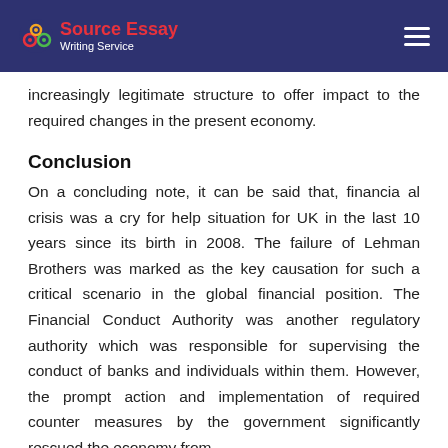Source Essay Writing Service
increasingly legitimate structure to offer impact to the required changes in the present economy.
Conclusion
On a concluding note, it can be said that, financia al crisis was a cry for help situation for UK in the last 10 years since its birth in 2008. The failure of Lehman Brothers was marked as the key causation for such a critical scenario in the global financial position. The Financial Conduct Authority was another regulatory authority which was responsible for supervising the conduct of banks and individuals within them. However, the prompt action and implementation of required counter measures by the government significantly rescued the economy from